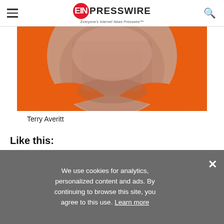EIN Presswire - Everyone's Internet News Presswire
[Figure (photo): Close-up photo of a man's neck and chin area, wearing an orange shirt. The subject appears to be Terry Averitt.]
Terry Averitt
Like this:
Like Loading...
We use cookies for analytics, personalized content and ads. By continuing to browse this site, you agree to this use. Learn more